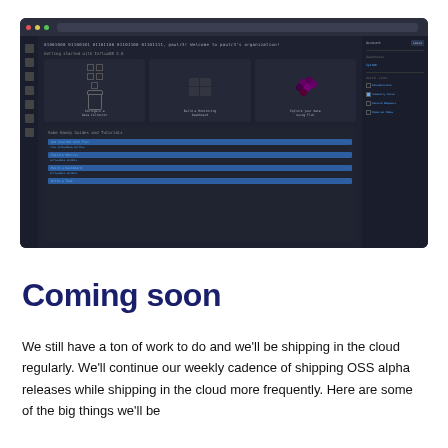[Figure (screenshot): Dark-themed InfluxDB 2.0 cloud UI screenshot showing browser chrome, binary header text, 'Getting started with InfluxDB 2.0' section with three cards (Configure a Data Collector, Build a Monitoring Dashboard, Explore your data using Flux), a 'Some Handy Guides and Tutorials' panel, and a right sidebar with account info, dashboards, and useful links.]
Coming soon
We still have a ton of work to do and we'll be shipping in the cloud regularly. We'll continue our weekly cadence of shipping OSS alpha releases while shipping in the cloud more frequently. Here are some of the big things we'll be